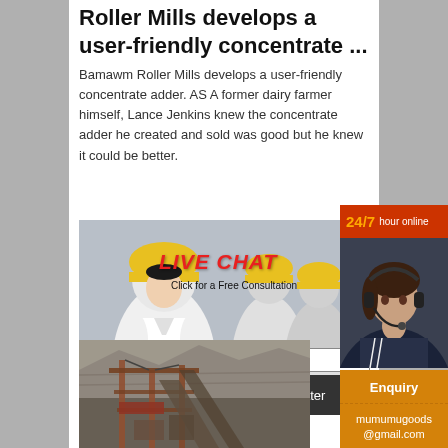Roller Mills develops a user-friendly concentrate ...
Bamawm Roller Mills develops a user-friendly concentrate adder. AS A former dairy farmer himself, Lance Jenkins knew the concentrate adder he created and sold was good but he knew it could be better.
[Figure (photo): Live chat banner with workers wearing yellow hard hats, overlay text 'LIVE CHAT Click for a Free Consultation', Chat now and Chat later buttons]
[Figure (infographic): 24/7 hour online panel with photo of headset lady and Click to chat button]
[Figure (infographic): Enquiry box with email mumumugoods@gmail.com on orange background]
[Figure (photo): Mining/industrial equipment photo showing large machinery in rocky quarry]